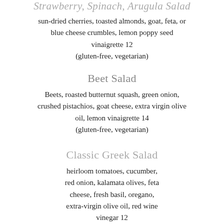Strawberry, Spinach, Arugula Salad
sun-dried cherries, toasted almonds, goat, feta, or blue cheese crumbles, lemon poppy seed vinaigrette 12
(gluten-free, vegetarian)
Beet Salad
Beets, roasted butternut squash, green onion, crushed pistachios, goat cheese, extra virgin olive oil, lemon vinaigrette 14
(gluten-free, vegetarian)
Classic Greek Salad
heirloom tomatoes, cucumber, red onion, kalamata olives, feta cheese, fresh basil, oregano, extra-virgin olive oil, red wine vinegar 12
(gluten-free, vegetarian)